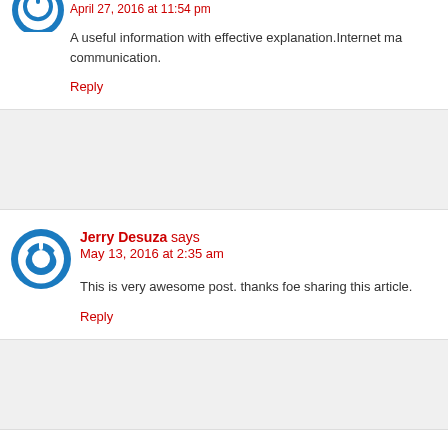April 27, 2016 at 11:54 pm
A useful information with effective explanation.Internet ma... communication.
Reply
Jerry Desuza says
May 13, 2016 at 2:35 am
This is very awesome post. thanks foe sharing this article.
Reply